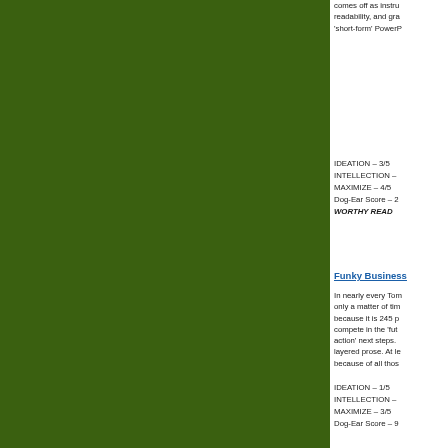comes off as instru... readability, and gra... 'short-form' PowerP...
IDEATION – 3/5
INTELLECTION –
MAXIMIZE – 4/5
Dog-Ear Score – 2
WORTHY READ
Funky Business
In nearly every Tom... only a matter of tim... because it is 245 p... compete in the 'fut... action' next steps. ... layered prose. At le... because of all thos...
IDEATION – 1/5
INTELLECTION –
MAXIMIZE – 3/5
Dog-Ear Score – 9